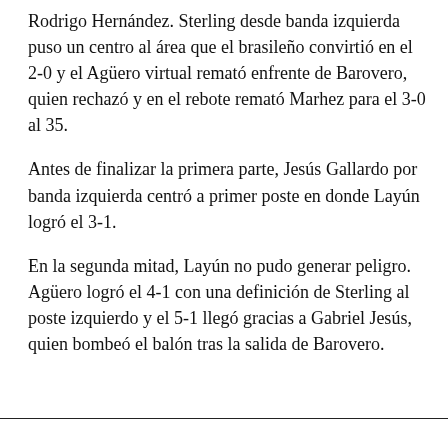Rodrigo Hernández. Sterling desde banda izquierda puso un centro al área que el brasileño convirtió en el 2-0 y el Agüero virtual remató enfrente de Barovero, quien rechazó y en el rebote remató Marhez para el 3-0 al 35.
Antes de finalizar la primera parte, Jesús Gallardo por banda izquierda centró a primer poste en donde Layún logró el 3-1.
En la segunda mitad, Layún no pudo generar peligro. Agüero logró el 4-1 con una definición de Sterling al poste izquierdo y el 5-1 llegó gracias a Gabriel Jesús, quien bombeó el balón tras la salida de Barovero.